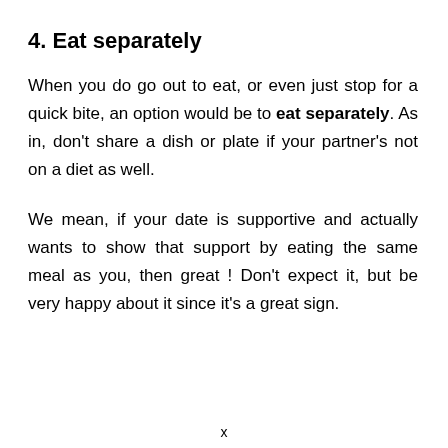4. Eat separately
When you do go out to eat, or even just stop for a quick bite, an option would be to eat separately. As in, don't share a dish or plate if your partner's not on a diet as well.
We mean, if your date is supportive and actually wants to show that support by eating the same meal as you, then great ! Don't expect it, but be very happy about it since it's a great sign.
x